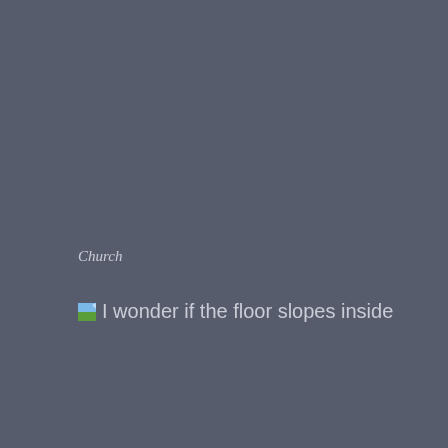Church
I wonder if the floor slopes inside